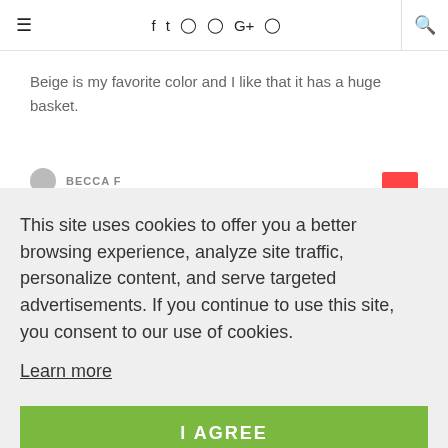≡  f  🐦  📷  𝗽  G+  ⌘  🔍
Beige is my favorite color and I like that it has a huge basket.
This site uses cookies to offer you a better browsing experience, analyze site traffic, personalize content, and serve targeted advertisements. If you continue to use this site, you consent to our use of cookies.
Learn more
I AGREE